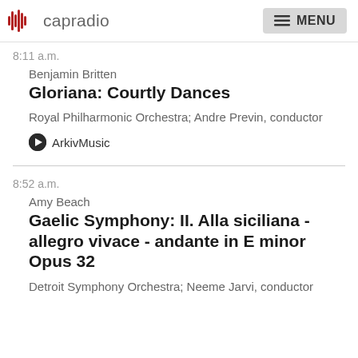capradio  MENU
8:11 a.m.
Benjamin Britten
Gloriana: Courtly Dances
Royal Philharmonic Orchestra; Andre Previn, conductor
ArkivMusic
8:52 a.m.
Amy Beach
Gaelic Symphony: II. Alla siciliana - allegro vivace - andante in E minor Opus 32
Detroit Symphony Orchestra; Neeme Jarvi, conductor